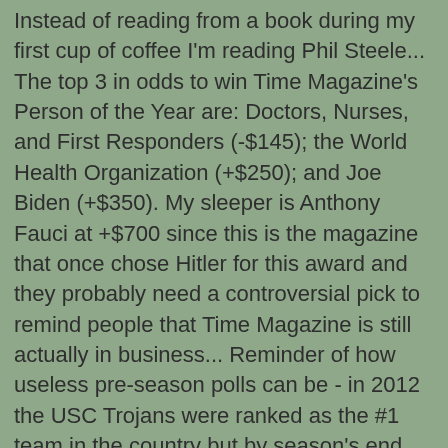Instead of reading from a book during my first cup of coffee I'm reading Phil Steele... The top 3 in odds to win Time Magazine's Person of the Year are: Doctors, Nurses, and First Responders (-$145); the World Health Organization (+$250); and Joe Biden (+$350). My sleeper is Anthony Fauci at +$700 since this is the magazine that once chose Hitler for this award and they probably need a controversial pick to remind people that Time Magazine is still actually in business... Reminder of how useless pre-season polls can be - in 2012 the USC Trojans were ranked as the #1 team in the country but by season's end they were unranked and out of the Top 25... The prices for used cars in this country have gone through the roof. It can't just be a lack of computer chips for new cars that's causing the price surge either... I admit that I'm looking forward to Boston College football this fall. The Eagles will have one of the top offenses in the country with potential All-Americans in the offensive line, at tight end, and most importantly at QB with Phil Jurkovec. The future looks bright too as ESPN has BC's recruiting class ranked 16th in the country ahead of even powerhouses like USC and Florida... Where the Great Wall of China ends...